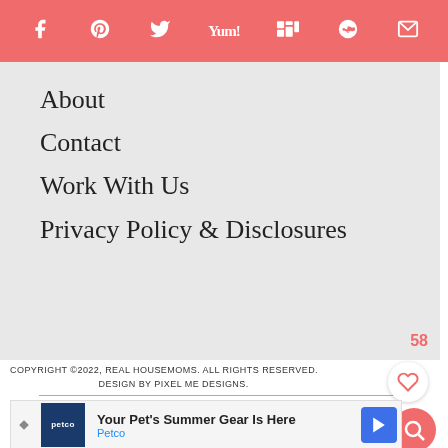Social share icons: Facebook, Pinterest, Twitter, Yummly, Mix, Reddit, Email
About
Contact
Work With Us
Privacy Policy & Disclosures
58
COPYRIGHT ©2022, REAL HOUSEMOMS. ALL RIGHTS RESERVED. DESIGN BY PIXEL ME DESIGNS.
AN ELITE CAFEMEDIA FOOD PUBLISHER
[Figure (screenshot): Petco ad banner: Your Pet's Summer Gear Is Here, Petco]